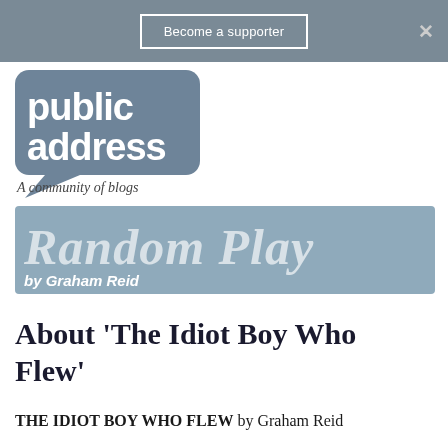Become a supporter
[Figure (logo): Public Address logo — speech bubble shape in steel blue with white text 'public address' and tagline 'A community of blogs']
[Figure (logo): Random Play by Graham Reid — blue banner with large italic text 'Random Play' and italic 'by Graham Reid' below]
About 'The Idiot Boy Who Flew'
THE IDIOT BOY WHO FLEW by Graham Reid